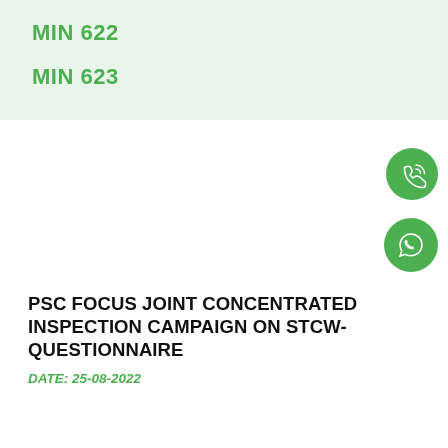MIN 622
MIN 623
[Figure (other): Green phone/call icon in a circular green button]
[Figure (other): WhatsApp icon in a circular green button]
PSC FOCUS JOINT CONCENTRATED INSPECTION CAMPAIGN ON STCW-QUESTIONNAIRE
DATE: 25-08-2022